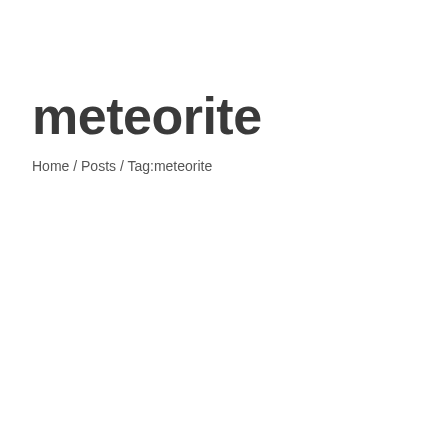meteorite
Home / Posts / Tag:meteorite